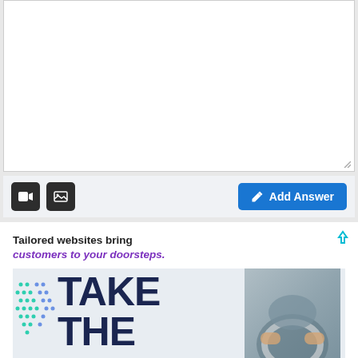[Figure (screenshot): White text input/editor area with resize handle at bottom right]
[Figure (screenshot): Toolbar with video icon, image icon, and blue Add Answer button with pencil icon]
Tailored websites bring customers to your doorsteps.
[Figure (illustration): Advertisement banner showing TAKE THE text with dot patterns and a photo of hands on steering wheel]